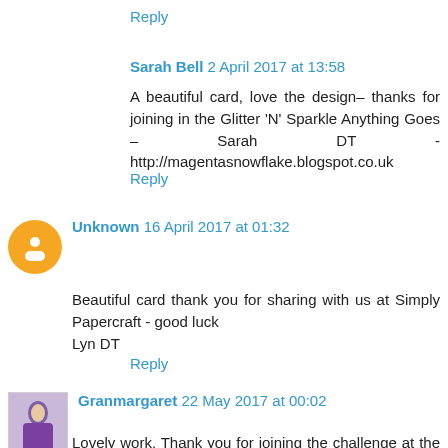Reply
Sarah Bell 2 April 2017 at 13:58
A beautiful card, love the design– thanks for joining in the Glitter 'N' Sparkle Anything Goes – Sarah DT - http://magentasnowflake.blogspot.co.uk
Reply
Unknown 16 April 2017 at 01:32
Beautiful card thank you for sharing with us at Simply Papercraft - good luck
Lyn DT
Reply
Granmargaret 22 May 2017 at 00:02
Lovely work. Thank you for joining the challenge at the 12 months of Christmas cards link up and Fun Day Friday.